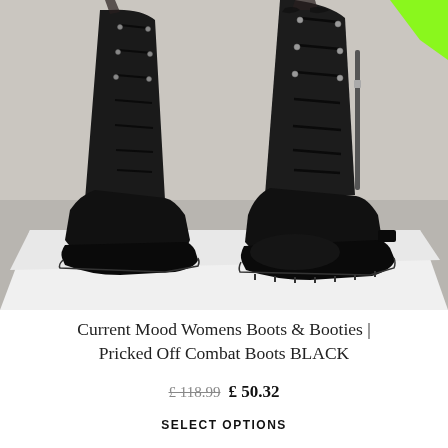[Figure (photo): Black lace-up combat boots with chunky treaded soles, worn with sheer black socks/stockings. The boots are shown on a model's legs against a white and grey background. The boots feature metal eyelets and side zip details.]
Current Mood Womens Boots & Booties | Pricked Off Combat Boots BLACK
£118.99 £ 50.32
SELECT OPTIONS